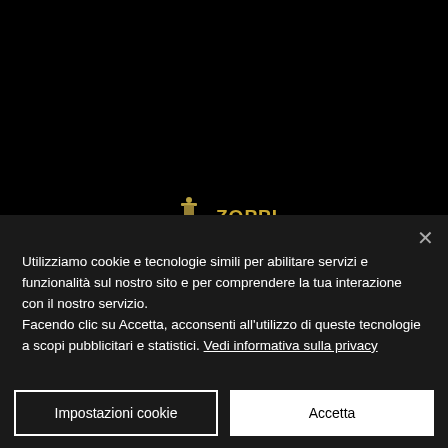[Figure (logo): Zoppi Distillery logo — flask icon in gold/olive color with text 'ZOPPI DISTILLERY' in gold and 'NONK' in green below]
Utilizziamo cookie e tecnologie simili per abilitare servizi e funzionalità sul nostro sito e per comprendere la tua interazione con il nostro servizio.
Facendo clic su Accetta, acconsenti all'utilizzo di queste tecnologie a scopi pubblicitari e statistici. Vedi informativa sulla privacy
Impostazioni cookie
Accetta